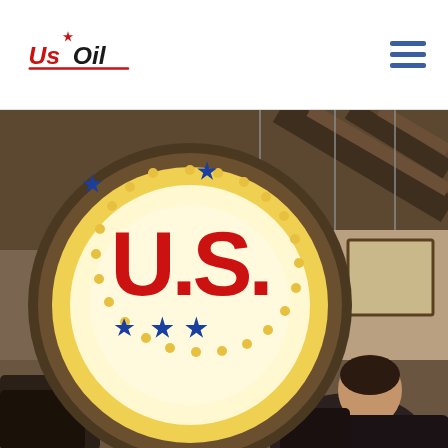US Oil logo and navigation menu
[Figure (photo): Interior photo of a US Oil gas station or convenience store, showing a large illuminated circular sign with 'U.S.' in red letters surrounded by blue stars on a glowing yellow background, hanging from wooden ceiling beams. In the foreground are dark chairs and a person seated with back to camera.]